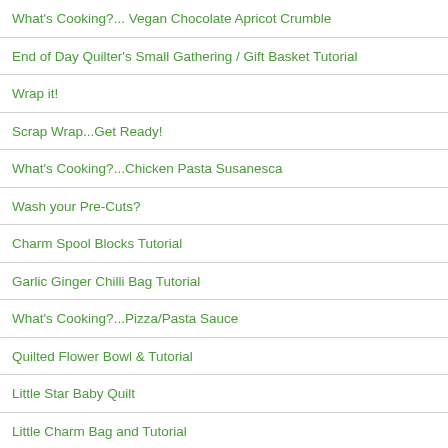What's Cooking?... Vegan Chocolate Apricot Crumble
End of Day Quilter's Small Gathering / Gift Basket Tutorial
Wrap it!
Scrap Wrap...Get Ready!
What's Cooking?...Chicken Pasta Susanesca
Wash your Pre-Cuts?
Charm Spool Blocks Tutorial
Garlic Ginger Chilli Bag Tutorial
What's Cooking?...Pizza/Pasta Sauce
Quilted Flower Bowl & Tutorial
Little Star Baby Quilt
Little Charm Bag and Tutorial